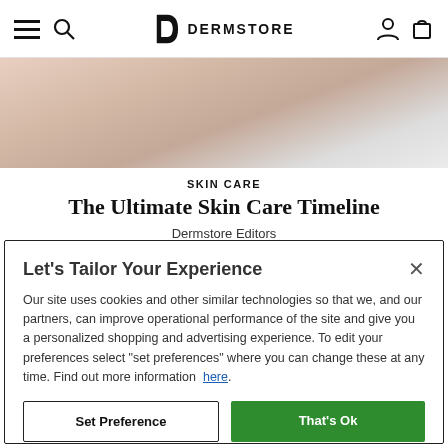DERMSTORE
[Figure (photo): Close-up photo of a person's shoulder and neck area with soft skin tones and white background, used as hero image for a skin care article]
SKIN CARE
The Ultimate Skin Care Timeline
Dermstore Editors
Let's Tailor Your Experience
Our site uses cookies and other similar technologies so that we, and our partners, can improve operational performance of the site and give you a personalized shopping and advertising experience. To edit your preferences select "set preferences" where you can change these at any time. Find out more information here.